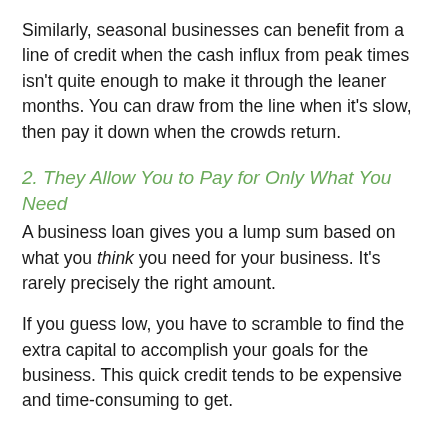Similarly, seasonal businesses can benefit from a line of credit when the cash influx from peak times isn't quite enough to make it through the leaner months. You can draw from the line when it's slow, then pay it down when the crowds return.
2. They Allow You to Pay for Only What You Need
A business loan gives you a lump sum based on what you think you need for your business. It's rarely precisely the right amount.
If you guess low, you have to scramble to find the extra capital to accomplish your goals for the business. This quick credit tends to be expensive and time-consuming to get.